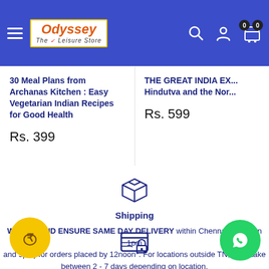[Figure (logo): Odyssey The Leisure Store logo with hamburger menu, search, user, and cart icons on blue header]
30 Meal Plans from Archanas Kitchen : Easy Vegetarian Indian Recipes for Good Health
Rs. 399
THE GREAT INDIA EX... Hindutva and the Nor...
Rs. 599
[Figure (illustration): Shipping box icon (outline)]
Shipping
WE TRY AND ENSURE SAME DAY DELIVERY within Chennai (between 1pm and 9pm) for orders placed by 12noon*. For locations outside TN, it will take between 2 - 7 days depending on location.
[Figure (illustration): Yellow circle with rupee/money bag icon]
[Figure (illustration): Secure payment / locked card icon]
[Figure (illustration): WhatsApp green circle icon]